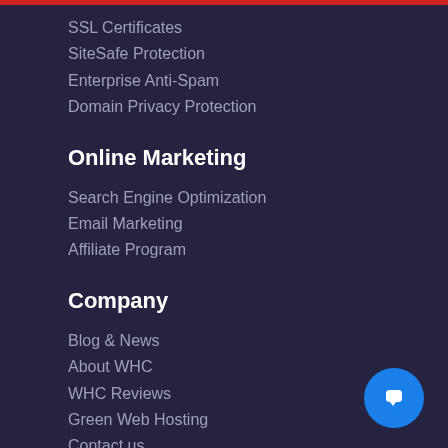SSL Certificates
SiteSafe Protection
Enterprise Anti-Spam
Domain Privacy Protection
Online Marketing
Search Engine Optimization
Email Marketing
Affiliate Program
Company
Blog & News
About WHC
WHC Reviews
Green Web Hosting
Contact us
Careers
Support
Help Center
Open Support Ticket